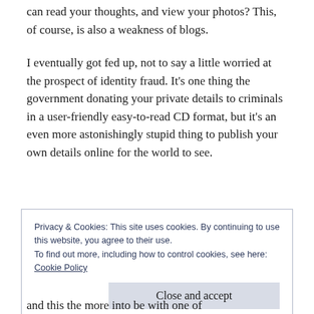can read your thoughts, and view your photos? This, of course, is also a weakness of blogs.
I eventually got fed up, not to say a little worried at the prospect of identity fraud. It’s one thing the government donating your private details to criminals in a user-friendly easy-to-read CD format, but it’s an even more astonishingly stupid thing to publish your own details online for the world to see.
Privacy & Cookies: This site uses cookies. By continuing to use this website, you agree to their use.
To find out more, including how to control cookies, see here:
Cookie Policy
Close and accept
and this the more into be with one of